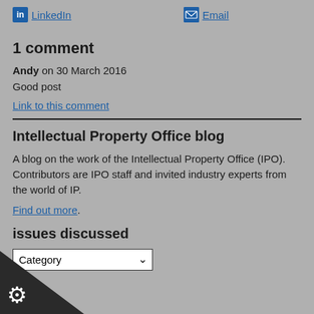LinkedIn  Email
1 comment
Andy on 30 March 2016
Good post
Link to this comment
Intellectual Property Office blog
A blog on the work of the Intellectual Property Office (IPO). Contributors are IPO staff and invited industry experts from the world of IP.
Find out more.
issues discussed
Category